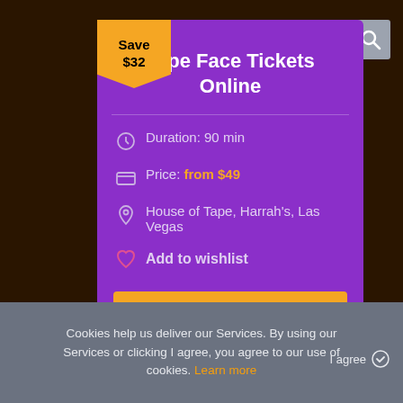[Figure (screenshot): Dark background scene]
Tape Face Tickets Online
Duration: 90 min
Price: from $49
House of Tape, Harrah's, Las Vegas
Add to wishlist
BUY TICKETS NOW
Save $32
Cookies help us deliver our Services. By using our Services or clicking I agree, you agree to our use of cookies. Learn more
I agree